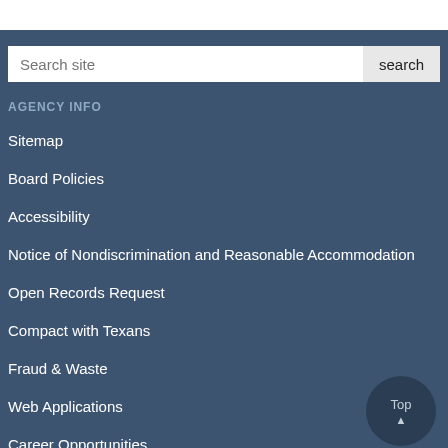AGENCY INFO
Sitemap
Board Policies
Accessibility
Notice of Nondiscrimination and Reasonable Accommodation
Open Records Request
Compact with Texans
Fraud & Waste
Web Applications
Career Opportunities
Contact Us